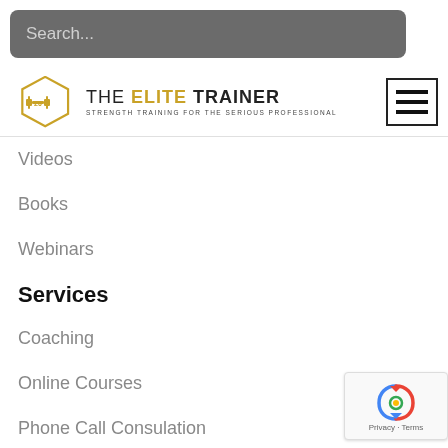Search...
[Figure (logo): The Elite Trainer logo with hexagon dumbbell icon and text 'THE ELITE TRAINER - STRENGTH TRAINING FOR THE SERIOUS PROFESSIONAL']
[Figure (other): Hamburger menu icon (three horizontal lines) in a bordered square button]
Videos
Books
Webinars
Services
Coaching
Online Courses
Phone Call Consulation
About
About John Paul Catanzaro
About The Elite Trainer
[Figure (other): reCAPTCHA badge with Google logo and 'Privacy · Terms' text]